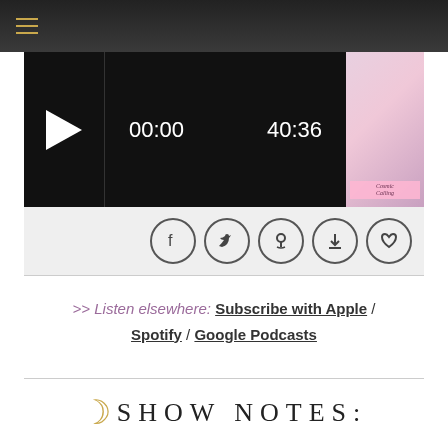[Figure (screenshot): Dark navigation bar with hamburger menu icon in gold/tan color]
[Figure (screenshot): Audio player with play button, timestamp 00:00, duration 40:36, and podcast thumbnail image]
[Figure (screenshot): Social sharing bar with Facebook, Twitter, podcast, download, and favorite icons]
>> Listen elsewhere: Subscribe with Apple / Spotify / Google Podcasts
SHOW NOTES: